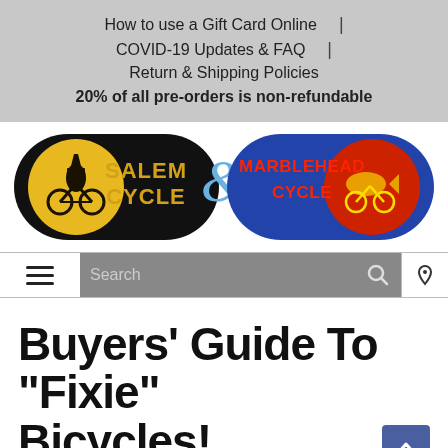How to use a Gift Card Online | COVID-19 Updates & FAQ | Return & Shipping Policies
20% of all pre-orders is non-refundable
[Figure (logo): Salem Cycle and Marblehead Cycle combined logo banner. Left half: black background with a witch on a bicycle in front of a yellow moon, text SALEM CYCLE in gold. Right half: blue background with text MARBLEHEAD CYCLE in red/yellow, and a fish on a bicycle logo on the right.]
Search
Buyers' Guide To "Fixie" Bicycles!